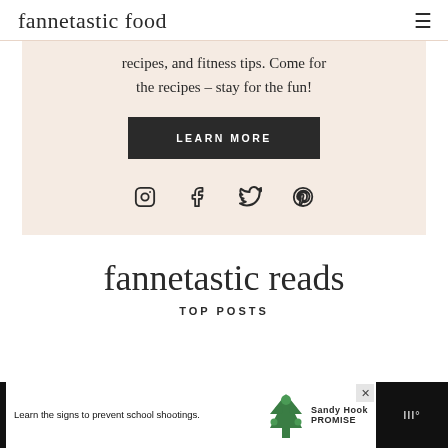fannetastic food
recipes, and fitness tips. Come for the recipes – stay for the fun!
LEARN MORE
[Figure (illustration): Social media icons: Instagram, Facebook, Twitter, Pinterest]
fannetastic reads
TOP POSTS
[Figure (screenshot): Advertisement banner: Learn the signs to prevent school shootings. Sandy Hook Promise logo.]